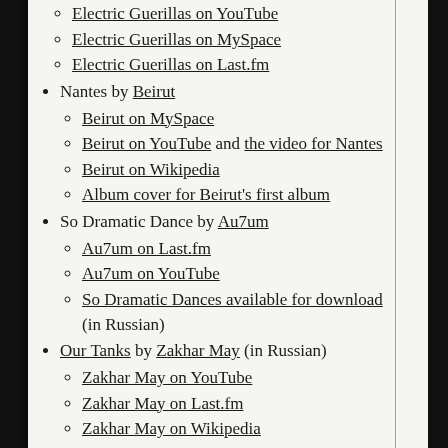Electric Guerillas on YouTube
Electric Guerillas on MySpace
Electric Guerillas on Last.fm
Nantes by Beirut
Beirut on MySpace
Beirut on YouTube and the video for Nantes
Beirut on Wikipedia
Album cover for Beirut's first album
So Dramatic Dance by Au7um
Au7um on Last.fm
Au7um on YouTube
So Dramatic Dances available for download (in Russian)
Our Tanks by Zakhar May (in Russian)
Zakhar May on YouTube
Zakhar May on Last.fm
Zakhar May on Wikipedia
Additional Information
Boris Yeltsin
Andy Kaufman
Apollo 9